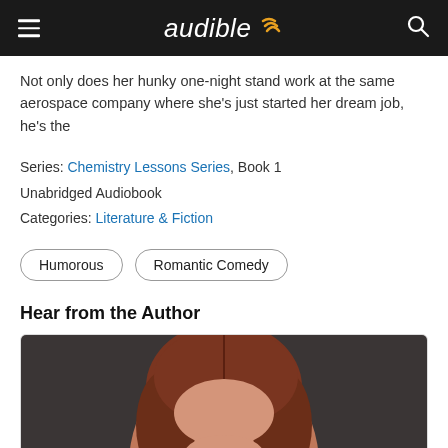audible
Not only does her hunky one-night stand work at the same aerospace company where she's just started her dream job, he's the
Series: Chemistry Lessons Series, Book 1
Unabridged Audiobook
Categories: Literature & Fiction
Humorous
Romantic Comedy
Hear from the Author
[Figure (photo): Circular portrait photo of an author with reddish-brown hair, partially cropped at bottom]